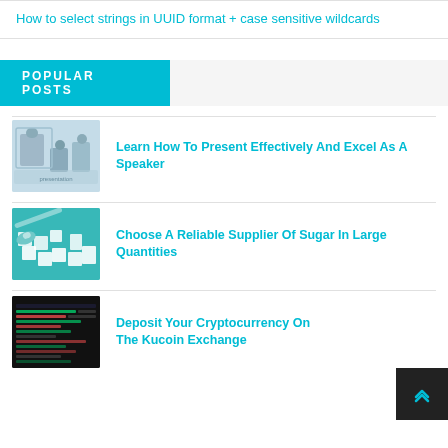How to select strings in UUID format + case sensitive wildcards
POPULAR POSTS
[Figure (photo): People in a meeting/presentation room]
Learn How To Present Effectively And Excel As A Speaker
[Figure (photo): Sugar cubes on a teal background]
Choose A Reliable Supplier Of Sugar In Large Quantities
[Figure (photo): Cryptocurrency exchange trading screen (dark)]
Deposit Your Cryptocurrency On The Kucoin Exchange